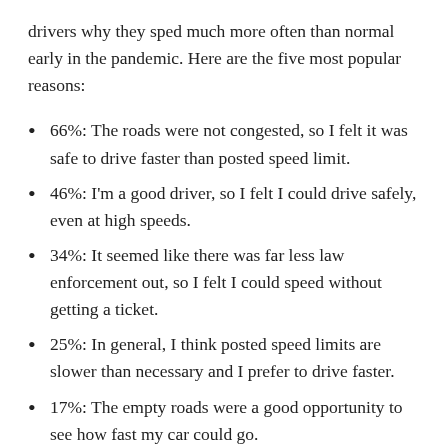drivers why they sped much more often than normal early in the pandemic. Here are the five most popular reasons:
66%: The roads were not congested, so I felt it was safe to drive faster than posted speed limit.
46%: I'm a good driver, so I felt I could drive safely, even at high speeds.
34%: It seemed like there was far less law enforcement out, so I felt I could speed without getting a ticket.
25%: In general, I think posted speed limits are slower than necessary and I prefer to drive faster.
17%: The empty roads were a good opportunity to see how fast my car could go.